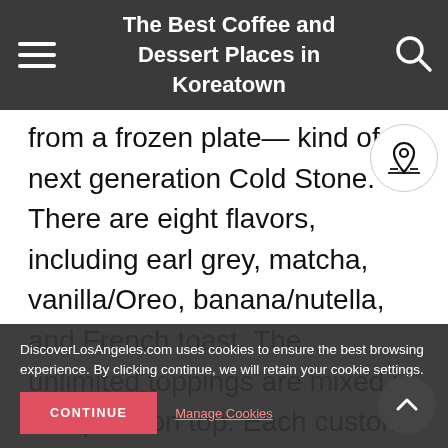The Best Coffee and Dessert Places in Koreatown
from a frozen plate— kind of a next generation Cold Stone. There are eight flavors, including earl grey, matcha, vanilla/Oreo, banana/nutella, and French toast. The unlimited toppings are mixed in and piled on top. Each custom order takes about 10 minutes to prepare, so expect to wait. A faster option is to order from the list of scooped ice creams with interesting black sesame, and injeolmi (chewy rice cake mix... vanilla) and add toppings
DiscoverLosAngeles.com uses cookies to ensure the best browsing experience. By clicking continue, we will retain your cookie settings.